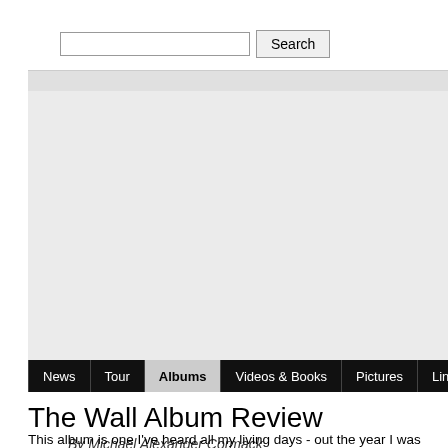[Figure (screenshot): Search bar with text input and Search button]
[Figure (other): Advertisement placeholder area, light gray background]
[Figure (other): Navigation bar with items: News, Tour, Albums (active), Videos & Books, Pictures, Links, Shop]
The Wall Album Review
By Michael Alexander Cormack
This album is one I've heard all my living days - out the year I was born (19... Dad was (and is) a huge PF fan. I've hence absorbed this album into my life...